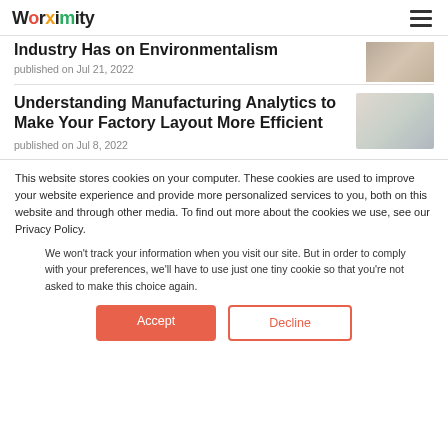Worximity
Industry Has on Environmentalism
published on Jul 21, 2022
Understanding Manufacturing Analytics to Make Your Factory Layout More Efficient
published on Jul 8, 2022
This website stores cookies on your computer. These cookies are used to improve your website experience and provide more personalized services to you, both on this website and through other media. To find out more about the cookies we use, see our Privacy Policy.
We won't track your information when you visit our site. But in order to comply with your preferences, we'll have to use just one tiny cookie so that you're not asked to make this choice again.
Accept
Decline